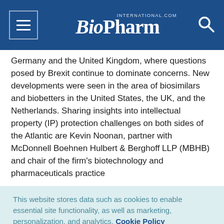BioPharm International
Germany and the United Kingdom, where questions posed by Brexit continue to dominate concerns. New developments were seen in the area of biosimilars and biobetters in the United States, the UK, and the Netherlands. Sharing insights into intellectual property (IP) protection challenges on both sides of the Atlantic are Kevin Noonan, partner with McDonnell Boehnen Hulbert & Berghoff LLP (MBHB) and chair of the firm's biotechnology and pharmaceuticals practice
This website stores data such as cookies to enable essential site functionality, as well as marketing, personalization, and analytics. Cookie Policy
Accept
Deny